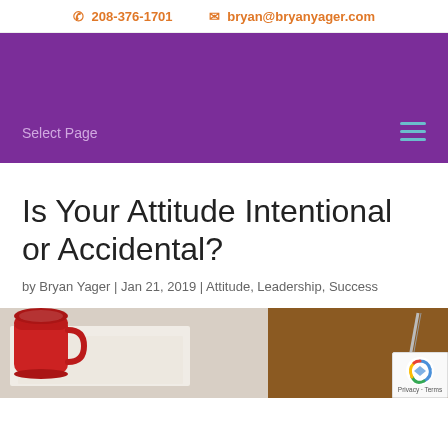📞 208-376-1701   ✉ bryan@bryanyager.com
[Figure (screenshot): Purple navigation bar with 'Select Page' dropdown label on the left and a hamburger menu icon (three horizontal lines) on the right]
Is Your Attitude Intentional or Accidental?
by Bryan Yager | Jan 21, 2019 | Attitude, Leadership, Success
[Figure (photo): Partial photo of a red coffee mug on papers/documents on the left side, and a wooden surface on the right side, with a pencil visible]